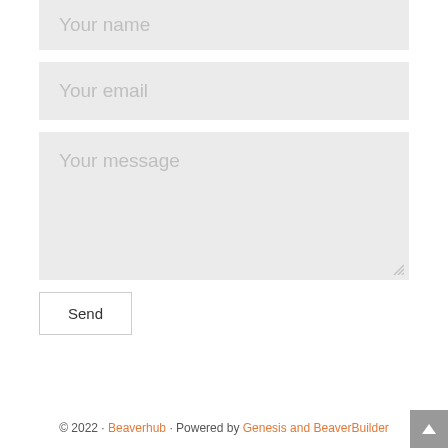Your name
Your email
Your message
Send
© 2022 · Beaverhub · Powered by Genesis and BeaverBuilder